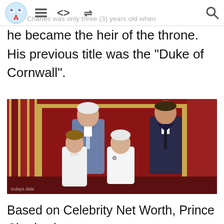Prince Charles was only three (3) years old when
he became the heir of the throne. His previous title was the “Duke of Cornwall”.
[Figure (photo): Royal family portrait showing four people standing in an ornate red room with gold decor: an older man in a blue pinstripe suit, a young boy in white, an elderly woman in white, and a younger man in a dark suit.]
Based on Celebrity Net Worth, Prince Charles is